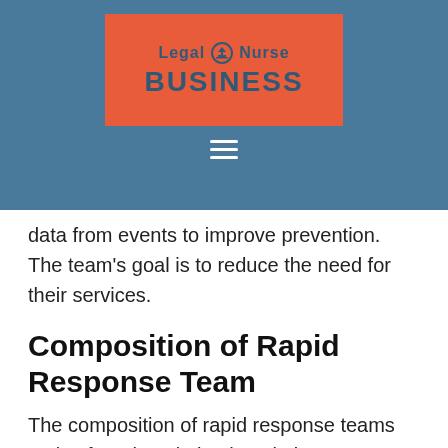[Figure (logo): Legal Nurse Business logo on red background with courthouse icon, set within a steel-blue header bar with hamburger menu icon below]
data from events to improve prevention. The team's goal is to reduce the need for their services.
Composition of Rapid Response Team
The composition of rapid response teams varies from hospital to hospital. A team typically consists of 2-3 people who are assigned to flexible responsibilities within the